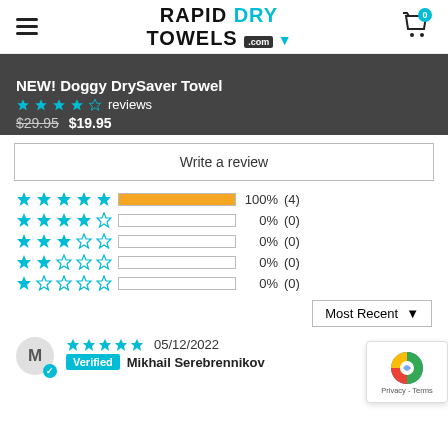RAPID DRY TOWELS .com
NEW! Doggy DrySaver Towel
$29.95 $19.95 reviews
Write a review
[Figure (bar-chart): Rating distribution]
Most Recent
05/12/2022
Verified Mikhail Serebrennikov